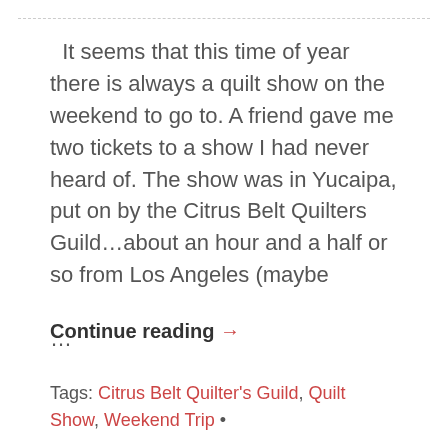It seems that this time of year there is always a quilt show on the weekend to go to. A friend gave me two tickets to a show I had never heard of. The show was in Yucaipa, put on by the Citrus Belt Quilters Guild…about an hour and a half or so from Los Angeles (maybe …
Continue reading →
Tags: Citrus Belt Quilter's Guild, Quilt Show, Weekend Trip •